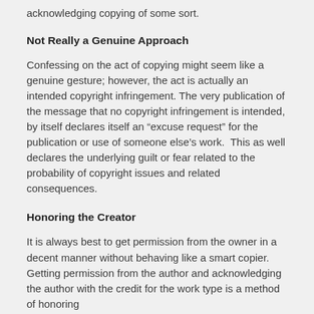acknowledging copying of some sort.
Not Really a Genuine Approach
Confessing on the act of copying might seem like a genuine gesture; however, the act is actually an intended copyright infringement. The very publication of the message that no copyright infringement is intended, by itself declares itself an “excuse request” for the publication or use of someone else’s work.  This as well declares the underlying guilt or fear related to the probability of copyright issues and related consequences.
Honoring the Creator
It is always best to get permission from the owner in a decent manner without behaving like a smart copier.  Getting permission from the author and acknowledging the author with the credit for the work type is a method of honoring